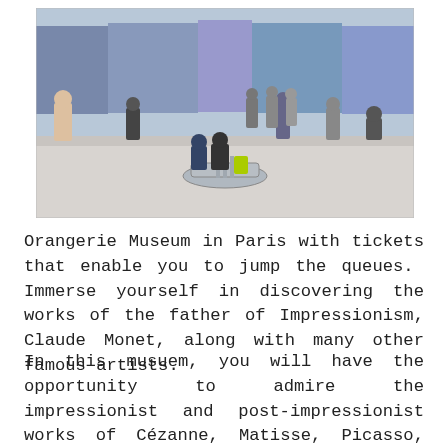[Figure (photo): Interior of the Orangerie Museum in Paris showing a circular gallery room with large Monet Water Lilies paintings on curved walls, a circular bench in the center, and visitors viewing the artwork.]
Orangerie Museum in Paris with tickets that enable you to jump the queues. Immerse yourself in discovering the works of the father of Impressionism, Claude Monet, along with many other famous artists.
In this musuem, you will have the opportunity to admire the impressionist and post-impressionist works of Cézanne, Matisse, Picasso, Renoir and Rousseau in the tranquil setting of a museum that